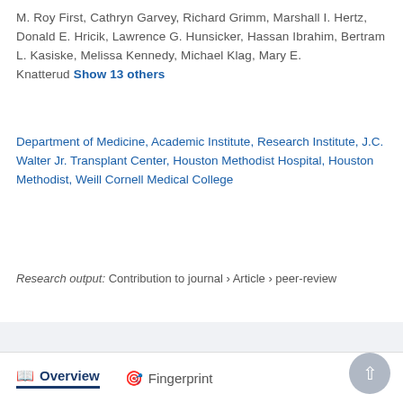M. Roy First, Cathryn Garvey, Richard Grimm, Marshall I. Hertz, Donald E. Hricik, Lawrence G. Hunsicker, Hassan Ibrahim, Bertram L. Kasiske, Melissa Kennedy, Michael Klag, Mary E. Knatterud   Show 13 others
Department of Medicine, Academic Institute, Research Institute, J.C. Walter Jr. Transplant Center, Houston Methodist Hospital, Houston Methodist, Weill Cornell Medical College
Research output: Contribution to journal › Article › peer-review
[Figure (infographic): Scopus citation count badge showing 66 citations]
Overview   Fingerprint